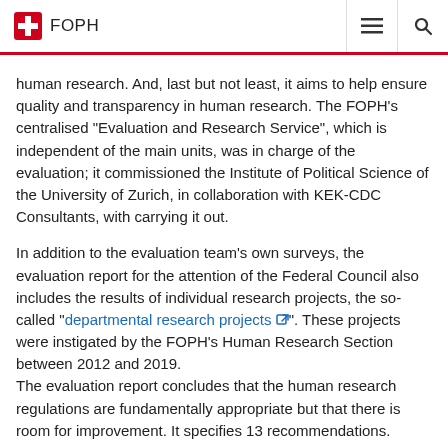FOPH
human research. And, last but not least, it aims to help ensure quality and transparency in human research. The FOPH’s centralised “Evaluation and Research Service”, which is independent of the main units, was in charge of the evaluation; it commissioned the Institute of Political Science of the University of Zurich, in collaboration with KEK-CDC Consultants, with carrying it out.
In addition to the evaluation team’s own surveys, the evaluation report for the attention of the Federal Council also includes the results of individual research projects, the so-called “departmental research projects”. These projects were instigated by the FOPH’s Human Research Section between 2012 and 2019.
The evaluation report concludes that the human research regulations are fundamentally appropriate but that there is room for improvement. It specifies 13 recommendations.
The FOPH has evaluated the results of the evaluation and submitted several proposals for further action to the Federal Council (see FOPH report). On 6 December 2019, the Federal Council acknowledged the results of the evaluation and decided to undertake a partial revision of the HRA’s ordinance legislation. A bill for consultation is to be